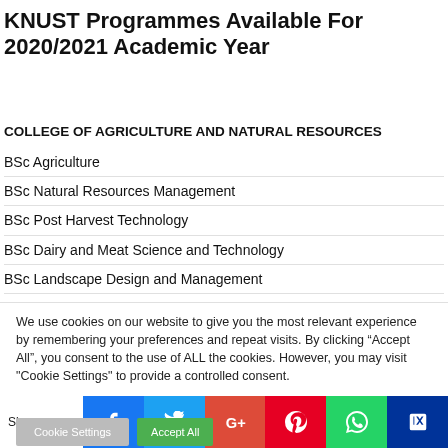KNUST Programmes Available For 2020/2021 Academic Year
COLLEGE OF AGRICULTURE AND NATURAL RESOURCES
BSc Agriculture
BSc Natural Resources Management
BSc Post Harvest Technology
BSc Dairy and Meat Science and Technology
BSc Landscape Design and Management
BSc Agricultural Biotechnology
BSc Agribusiness Management
We use cookies on our website to give you the most relevant experience by remembering your preferences and repeat visits. By clicking “Accept All”, you consent to the use of ALL the cookies. However, you may visit "Cookie Settings" to provide a controlled consent.
Shares